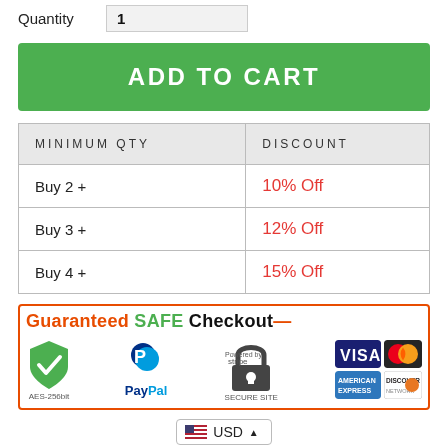Quantity   1
ADD TO CART
| MINIMUM QTY | DISCOUNT |
| --- | --- |
| Buy 2 + | 10% Off |
| Buy 3 + | 12% Off |
| Buy 4 + | 15% Off |
[Figure (infographic): Guaranteed SAFE Checkout badge with PayPal, Stripe, Visa, Mastercard, American Express, Discover logos and AES-256bit shield]
USD